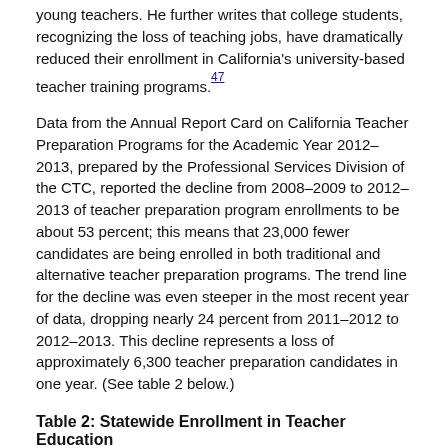young teachers. He further writes that college students, recognizing the loss of teaching jobs, have dramatically reduced their enrollment in California's university-based teacher training programs.47
Data from the Annual Report Card on California Teacher Preparation Programs for the Academic Year 2012–2013, prepared by the Professional Services Division of the CTC, reported the decline from 2008–2009 to 2012–2013 of teacher preparation program enrollments to be about 53 percent; this means that 23,000 fewer candidates are being enrolled in both traditional and alternative teacher preparation programs. The trend line for the decline was even steeper in the most recent year of data, dropping nearly 24 percent from 2011–2012 to 2012–2013. This decline represents a loss of approximately 6,300 teacher preparation candidates in one year. (See table 2 below.)
Table 2: Statewide Enrollment in Teacher Education
| Year | Statewide Enrollment |
| --- | --- |